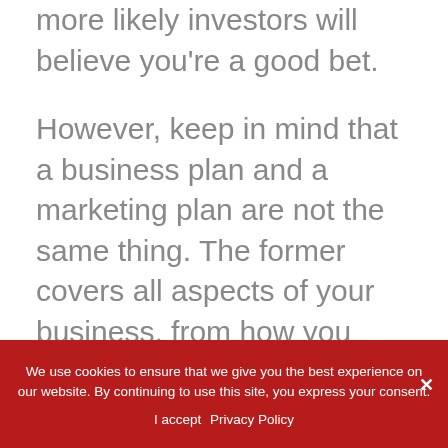more likely investors will believe you're a good bet.
However, keep in mind that a business plan and a marketing plan are not the same thing. The former covers all aspects of your business, from how you create your product to who you'll be hiring for key roles in your company. It's a comprehensive document that outlines operations, support, company structure, and other details. A marketing plan, on the other hand, deals specifically with how
We use cookies to ensure that we give you the best experience on our website. By continuing to use this site, you express your consent.
I accept   Privacy Policy